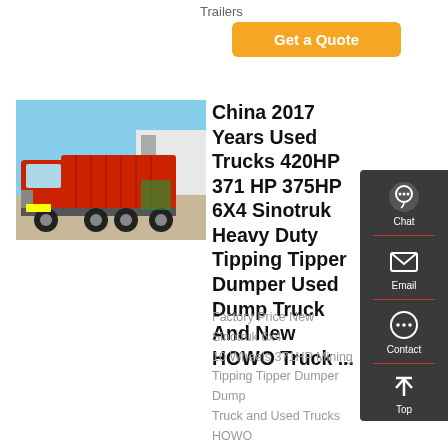Trailers
Get a Quote
[Figure (photo): Red Sinotruk HOWO dump truck parked in a yard with blue sky and warehouse in background]
China 2017 Years Used Trucks 420HP 371 HP 375HP 6X4 Sinotruk Heavy Duty Tipping Tipper Dumper Used Dump Truck And New HOWO Truck ...
Factory Price New Sinotruk 6x4 10 Wheels 371HP Mining Tipping Tipper Dumper Dump Truck and Used Trucks HOWO Used Dump Truck Sale If